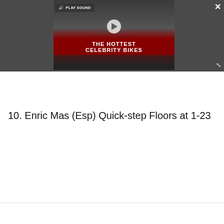[Figure (screenshot): Video player showing 'THE HOTTEST CELEBRITY BIKES' with a play button, PLAY SOUND button, close (X) button, and expand button. Dark grey background surrounds the video frame.]
10. Enric Mas (Esp) Quick-step Floors at 1-23